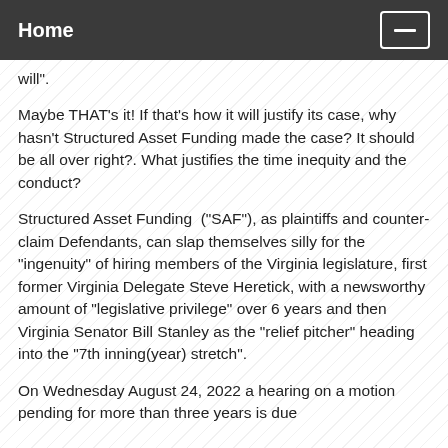Home
will".
Maybe THAT's it! If that's how it will justify its case, why hasn't Structured Asset Funding made the case? It should be all over right?. What justifies the time inequity and the conduct?
Structured Asset Funding  ("SAF"), as plaintiffs and counter-claim Defendants, can slap themselves silly for the "ingenuity" of hiring members of the Virginia legislature, first former Virginia Delegate Steve Heretick, with a newsworthy amount of "legislative privilege" over 6 years and then Virginia Senator Bill Stanley as the "relief pitcher" heading into the "7th inning(year) stretch".
On Wednesday August 24, 2022 a hearing on a motion pending for more than three years is due